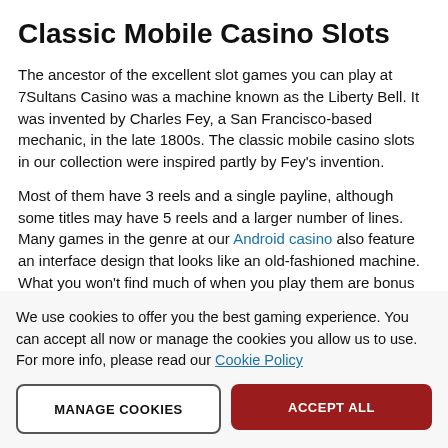Classic Mobile Casino Slots
The ancestor of the excellent slot games you can play at 7Sultans Casino was a machine known as the Liberty Bell. It was invented by Charles Fey, a San Francisco-based mechanic, in the late 1800s. The classic mobile casino slots in our collection were inspired partly by Fey's invention.
Most of them have 3 reels and a single payline, although some titles may have 5 reels and a larger number of lines. Many games in the genre at our Android casino also feature an interface design that looks like an old-fashioned machine. What you won't find much of when you play them are bonus features. Some online slots mobile are all about the gameplay of the reels and standard symbols, although a few games include Free Spins, Multipliers, or a Wild symbol that can substitute for regular symbols.
We use cookies to offer you the best gaming experience. You can accept all now or manage the cookies you allow us to use. For more info, please read our Cookie Policy
MANAGE COOKIES
ACCEPT ALL